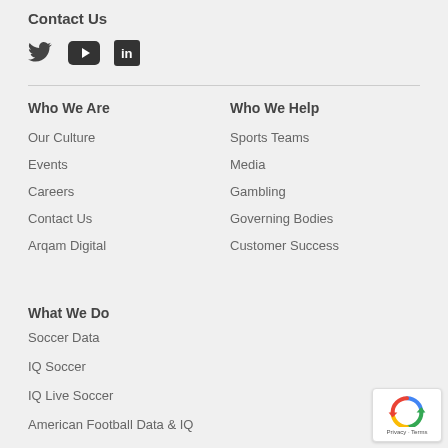Contact Us
[Figure (illustration): Social media icons: Twitter bird, YouTube play button, LinkedIn logo]
Who We Are
Our Culture
Events
Careers
Contact Us
Arqam Digital
Who We Help
Sports Teams
Media
Gambling
Governing Bodies
Customer Success
What We Do
Soccer Data
IQ Soccer
IQ Live Soccer
American Football Data & IQ
Consultancy
[Figure (logo): reCAPTCHA badge with Google logo and Privacy - Terms text]